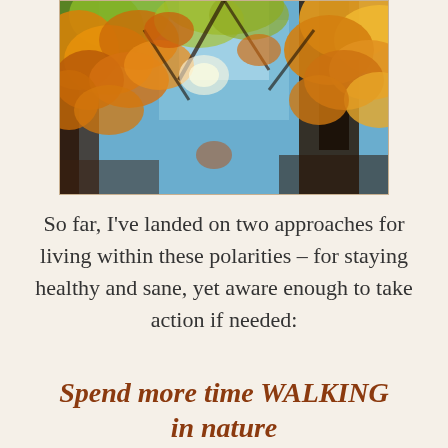[Figure (photo): Upward-looking photo through autumn tree canopy with orange, yellow, and red leaves against a blue sky]
So far, I've landed on two approaches for living within these polarities – for staying healthy and sane, yet aware enough to take action if needed:
Spend more time WALKING in nature